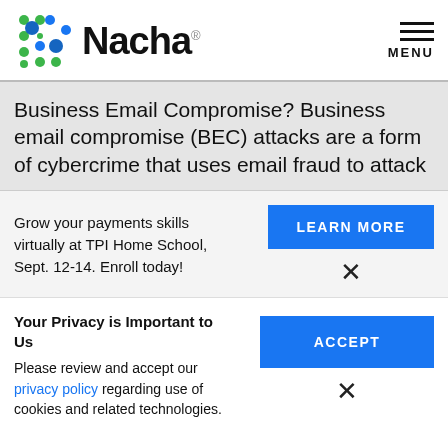Nacha - MENU
Business Email Compromise? Business email compromise (BEC) attacks are a form of cybercrime that uses email fraud to attack
Grow your payments skills virtually at TPI Home School, Sept. 12-14. Enroll today!
LEARN MORE
Your Privacy is Important to Us
Please review and accept our privacy policy regarding use of cookies and related technologies.
ACCEPT